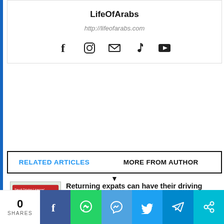LifeOfArabs
http://lifeofarabs.com
[Figure (infographic): Social media icons: Facebook, Instagram, Email, TikTok, YouTube]
RELATED ARTICLES   MORE FROM AUTHOR
[Figure (photo): Saudi driving license card thumbnail]
Returning expats can have their driving license replaced with a new iqama – Saudi Moroor.
[Figure (logo): Saudi Ministry of Tourism logo]
How can I get a tourist visa for Saudi Arabia?
0 SHARES | Facebook | WhatsApp | Messenger | Twitter | Telegram | Share